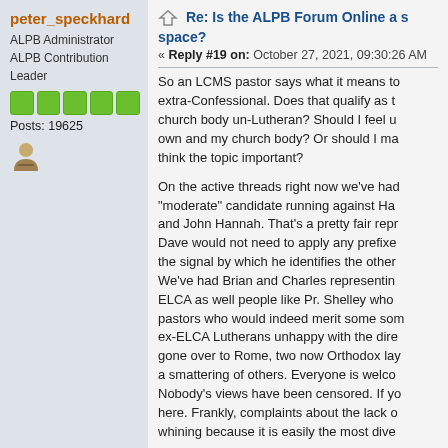peter_speckhard
ALPB Administrator
ALPB Contribution Leader
Posts: 19625
Re: Is the ALPB Forum Online a s space?
« Reply #19 on: October 27, 2021, 09:30:26 AM
So an LCMS pastor says what it means to extra-Confessional. Does that qualify as the church body un-Lutheran? Should I feel u own and my church body? Or should I ma think the topic important?
On the active threads right now we've had "moderate" candidate running against Ha and John Hannah. That's a pretty fair repr Dave would not need to apply any prefixe the signal by which he identifies the other We've had Brian and Charles representin ELCA as well people like Pr. Shelley who pastors who would indeed merit some som ex-ELCA Lutherans unhappy with the dire gone over to Rome, two now Orthodox lay a smattering of others. Everyone is welco Nobody's views have been censored. If y here. Frankly, complaints about the lack o whining because it is easily the most dive